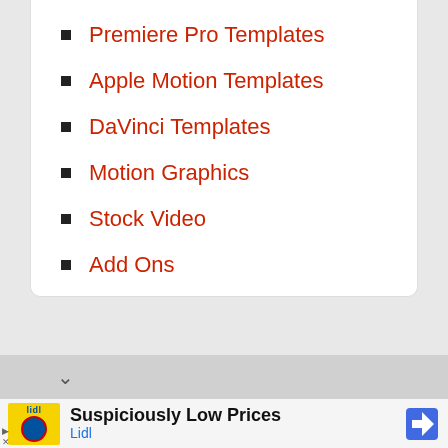Premiere Pro Templates
Apple Motion Templates
DaVinci Templates
Motion Graphics
Stock Video
Add Ons
[Figure (screenshot): Advertisement banner for Lidl showing logo, text 'Suspiciously Low Prices' and 'Lidl']